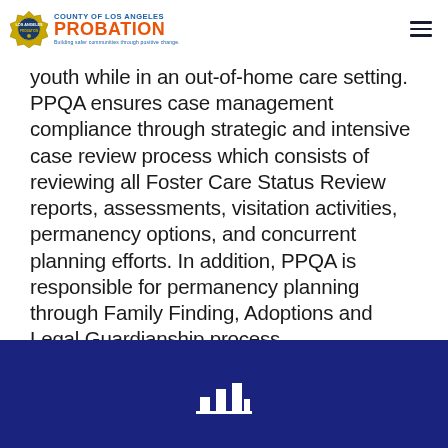County of Los Angeles Probation — Building safer communities through positive change
youth while in an out-of-home care setting. PPQA ensures case management compliance through strategic and intensive case review process which consists of reviewing all Foster Care Status Review reports, assessments, visitation activities, permanency options, and concurrent planning efforts. In addition, PPQA is responsible for permanency planning through Family Finding, Adoptions and Legal Guardianship process.
[Figure (logo): Bar chart icon (white on navy background) in footer]